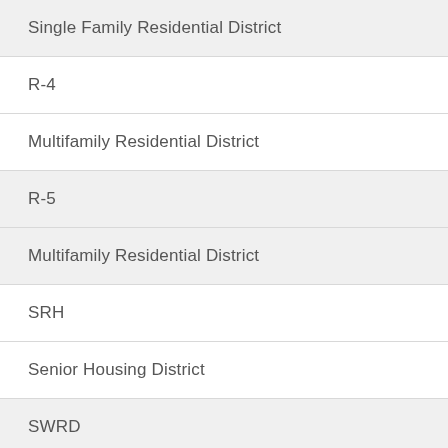| Single Family Residential District |
| R-4 |
| Multifamily Residential District |
| R-5 |
| Multifamily Residential District |
| SRH |
| Senior Housing District |
| SWRD |
| Southern Waterfront Redevelopment Zone District |